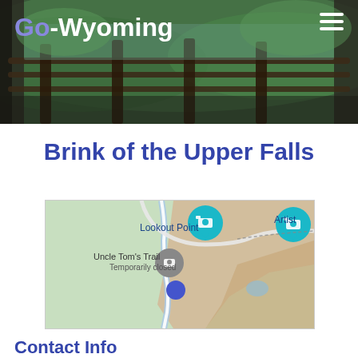[Figure (photo): Header photo showing a wooden railing/fence with green forested mountains and water in the background. Site logo 'Go-Wyoming' overlaid in top left, hamburger menu icon in top right.]
Brink of the Upper Falls
[Figure (map): Google Maps style map showing the area near Brink of the Upper Falls in Yellowstone. Features labeled locations: Lookout Point (teal pin with camera icon), Artist (teal pin with camera icon, partially cut off), Uncle Tom's Trail Temporarily closed (gray pin), and a blue/purple pin for Brink of the Upper Falls. Map shows green terrain and sandy/tan colored areas with a river/stream path.]
Contact Info